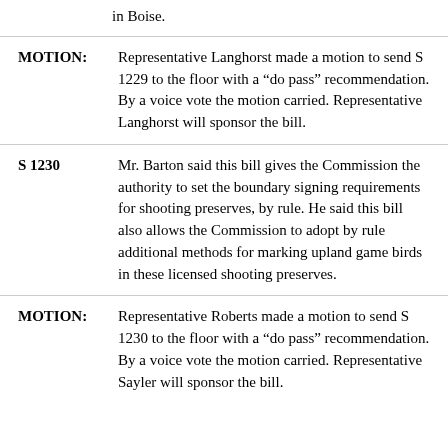in Boise.
MOTION: Representative Langhorst made a motion to send S 1229 to the floor with a “do pass” recommendation. By a voice vote the motion carried. Representative Langhorst will sponsor the bill.
S 1230  Mr. Barton said this bill gives the Commission the authority to set the boundary signing requirements for shooting preserves, by rule. He said this bill also allows the Commission to adopt by rule additional methods for marking upland game birds in these licensed shooting preserves.
MOTION: Representative Roberts made a motion to send S 1230 to the floor with a “do pass” recommendation. By a voice vote the motion carried. Representative Sayler will sponsor the bill.